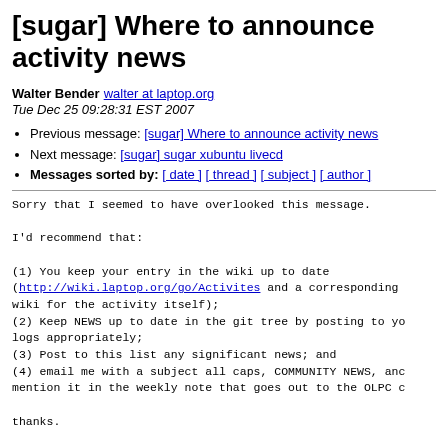[sugar] Where to announce activity news
Walter Bender walter at laptop.org
Tue Dec 25 09:28:31 EST 2007
Previous message: [sugar] Where to announce activity news
Next message: [sugar] sugar xubuntu livecd
Messages sorted by: [ date ] [ thread ] [ subject ] [ author ]
Sorry that I seemed to have overlooked this message.

I'd recommend that:

(1) You keep your entry in the wiki up to date
(http://wiki.laptop.org/go/Activites and a corresponding
wiki for the activity itself);
(2) Keep NEWS up to date in the git tree by posting to yo
logs appropriately;
(3) Post to this list any significant news; and
(4) email me with a subject all caps, COMMUNITY NEWS, anc
mention it in the weekly note that goes out to the OLPC c

thanks.